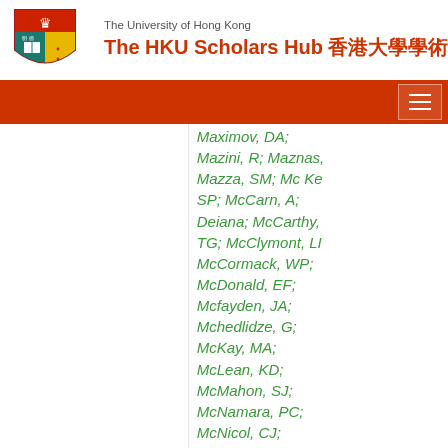The University of Hong Kong — The HKU Scholars Hub 香港大學學術庫
Maximov, DA; Mazini, R; Maznas, [?]; Mazza, SM; Mc Ke[?] SP; McCarn, A; Deiana; McCarthy, TG; McClymont, LI[?]; McCormack, WP; McDonald, EF; Mcfayden, JA; Mchedlidze, G; McKay, MA; McLean, KD; McMahon, SJ; McNamara, PC; McNicol, CJ; McPherson, RA; Mdhluli, JE; Meadows, ZA;